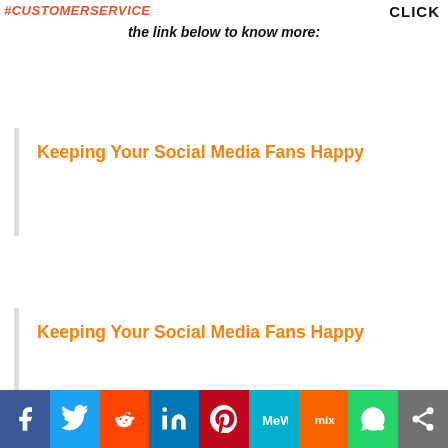#CUSTOMERSERVICE   click the link below to know more:
Keeping Your Social Media Fans Happy
Keeping Your Social Media Fans Happy
[Figure (infographic): Social media sharing bar with icons: Facebook, Twitter, Reddit, LinkedIn, Pinterest, MeWe, Mix, WhatsApp, Share]